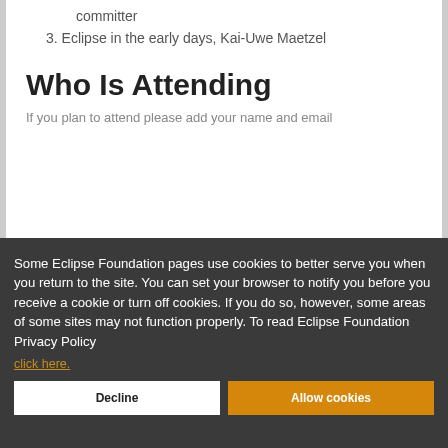committer
3. Eclipse in the early days, Kai-Uwe Maetzel
Who Is Attending
If you plan to attend please add your name and email
Some Eclipse Foundation pages use cookies to better serve you when you return to the site. You can set your browser to notify you before you receive a cookie or turn off cookies. If you do so, however, some areas of some sites may not function properly. To read Eclipse Foundation Privacy Policy
click here.
Decline
Allow cookies